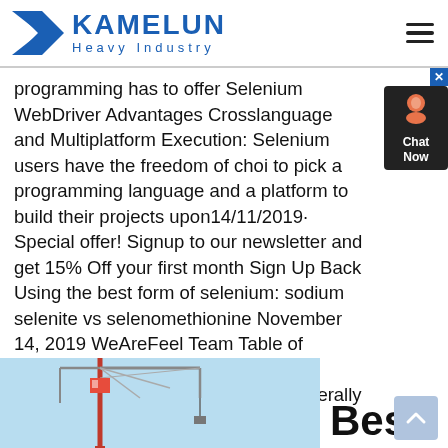KAMELUN Heavy Industry
programming has to offer Selenium WebDriver Advantages Crosslanguage and Multiplatform Execution: Selenium users have the freedom of choi to pick a programming language and a platform to build their projects upon14/11/2019· Special offer! Signup to our newsletter and get 15% Off your first month Sign Up Back Using the best form of selenium: sodium selenite vs selenomethionine November 14, 2019 WeAreFeel Team Table of contents What forms of selenium are there? In supplements, selenium generally comes in the following forms: Sodium selenate; Sodium selenite; Selenomethionine; Selenocysteine TheUsing the best form of selenium: sodium selenite vs
[Figure (photo): Partial view of industrial crane/tower structure against a light blue sky, bottom left of page]
Best